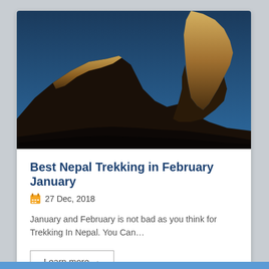[Figure (photo): Mountain landscape at dusk showing snow-capped peaks illuminated in golden light against a deep blue sky, with dark silhouetted foreground hills — likely the Himalayas in Nepal.]
Best Nepal Trekking in February January
27 Dec, 2018
January and February is not bad as you think for Trekking In Nepal. You Can…
Learn more →